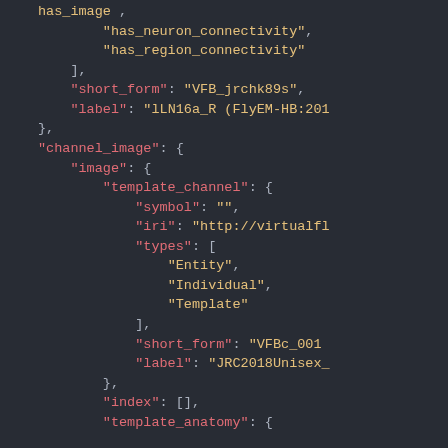JSON code block showing neuron connectivity data structure with channel_image, image, template_channel fields